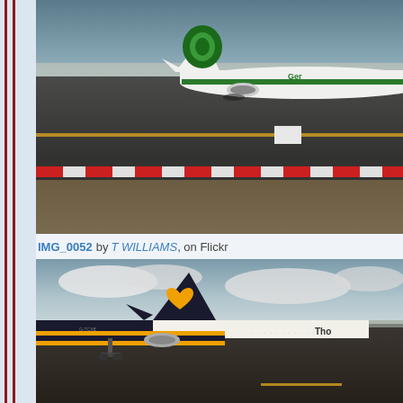[Figure (photo): Germanwings aircraft tail and fuselage on airport tarmac, viewed from behind, with runway markings and red/white barrier visible in foreground, arid landscape in background]
IMG_0052 by T WILLIAMS, on Flickr
[Figure (photo): Thomas Cook Airlines aircraft tail and fuselage on airport tarmac, showing distinctive yellow/black heart logo on tail, partly cloudy sky in background]